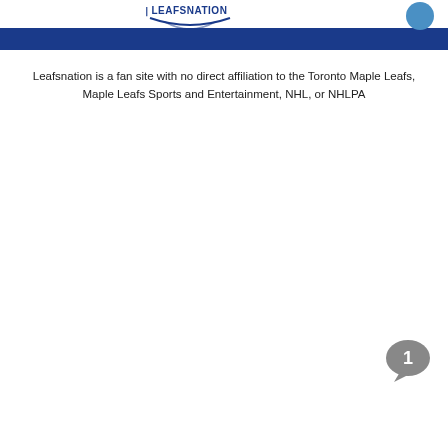[Figure (logo): Leafsnation logo with text and swoosh graphic]
[Figure (other): Blue circle icon in top right corner]
Leafsnation is a fan site with no direct affiliation to the Toronto Maple Leafs, Maple Leafs Sports and Entertainment, NHL, or NHLPA
[Figure (other): Grey speech bubble with number 1 inside]